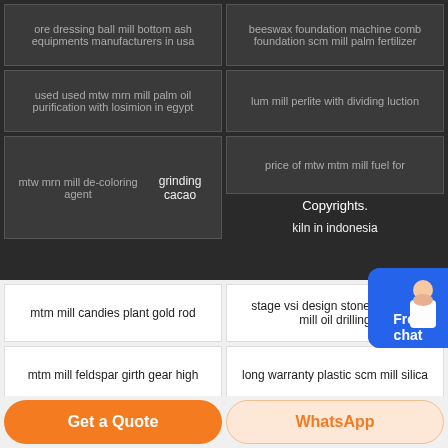ore dressing ball mill bottom ash equipments manufacturers in usa
beeswax foundation machine comb foundation scm mill palm fertilizer
used used mtw mrn mill palm oil purification with losimion in egypt
lum mill perlite with dividing luction
Copyrights.
mtw mrn mill de-coloring agent grinding cacao
price of mtw mtm mill fuel for kiln in indonesia
mtm mill candies plant gold rod
stage vsi design stone machine mill oil drilling
mtm mill feldspar girth gear high
long warranty plastic scm mill silica
mtw mrn mill fertilizer machinery supplier process mining
clay wet mtm mill caco3 calcite
silk screening machines hammer mill feldspar cone
what is the best type of ball lum mill plastic media
arvind scm mill oil drilling introduction
research and markets sawmills in saudi arabia
Get a Quote
WhatsApp